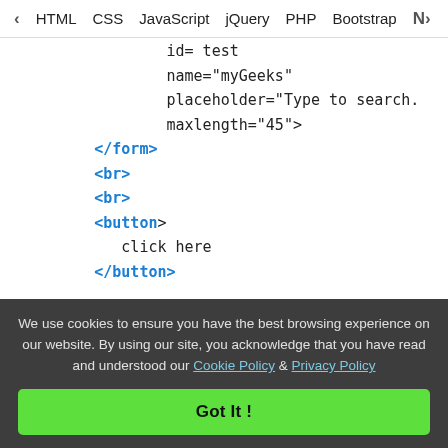< HTML  CSS  JavaScript  jQuery  PHP  Bootstrap  N>
id= test
    name="myGeeks"
    placeholder="Type to search.
    maxlength="45">
</form>
<br>
<br>
<button ondblclick="Access()">
   click here
</button>

<p id="check"
   style="font-size:24px;
          color:green;">
</p>
We use cookies to ensure you have the best browsing experience on our website. By using our site, you acknowledge that you have read and understood our Cookie Policy & Privacy Policy
Got It !